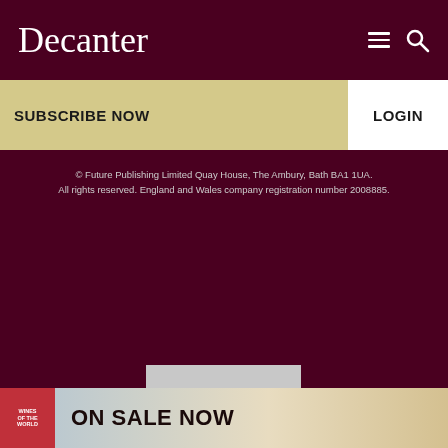Decanter
SUBSCRIBE NOW
LOGIN
© Future Publishing Limited Quay House, The Ambury, Bath BA1 1UA. All rights reserved. England and Wales company registration number 2008885.
[Figure (other): Gray placeholder advertisement box]
[Figure (other): Social media icons row: RSS, Facebook, Instagram, Twitter, YouTube]
[Figure (other): Promotional banner showing Wines of the World book cover with text ON SALE NOW]